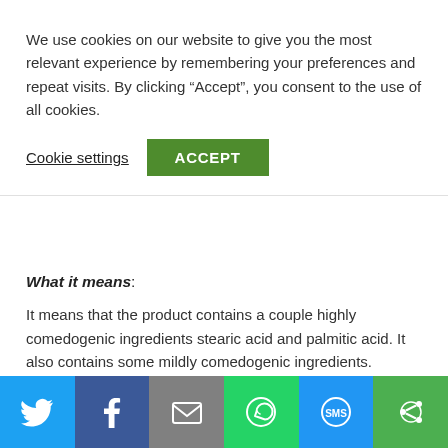We use cookies on our website to give you the most relevant experience by remembering your preferences and repeat visits. By clicking “Accept”, you consent to the use of all cookies.
Cookie settings  ACCEPT
What it means:
It means that the product contains a couple highly comedogenic ingredients stearic acid and palmitic acid. It also contains some mildly comedogenic ingredients.
A mildly comedogenic ingredient means that it is not likely to
[Figure (other): Social sharing bar with Twitter, Facebook, Email, WhatsApp, SMS, and another share button icons]